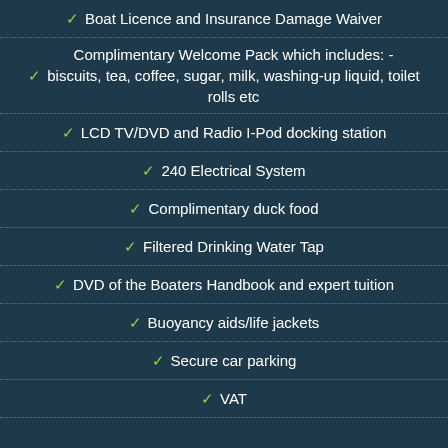✓ Boat Licence and Insurance Damage Waiver
✓ Complimentary Welcome Pack which includes: - biscuits, tea, coffee, sugar, milk, washing-up liquid, toilet rolls etc
✓ LCD TV/DVD and Radio I-Pod docking station
✓ 240 Electrical System
✓ Complimentary duck food
✓ Filtered Drinking Water Tap
✓ DVD of the Boaters Handbook and expert tuition
✓ Buoyancy aids/life jackets
✓ Secure car parking
✓ VAT